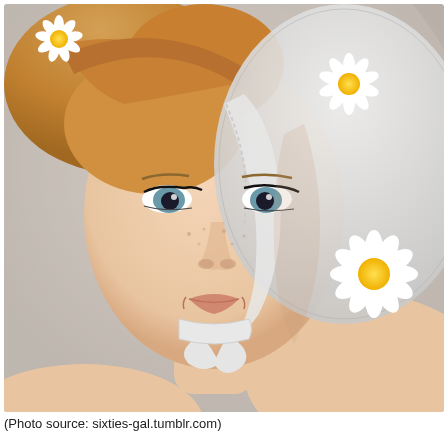[Figure (photo): Portrait photograph of a young woman with short blonde hair, blue eyes, light freckles, and a slight smile. She is wearing a white lace bonnet/headpiece decorated with white daisy flowers. She appears bare-shouldered. The background is a light grey-beige. The style suggests a 1960s era photo.]
(Photo source: sixties-gal.tumblr.com)